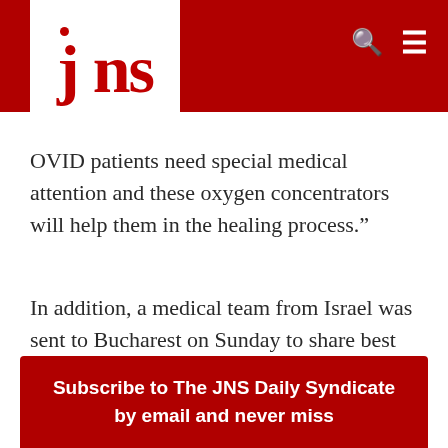jns
OVID patients need special medical attention and these oxygen concentrators will help them in the healing process.”
In addition, a medical team from Israel was sent to Bucharest on Sunday to share best practices with physicians in Romania. The team includes three doctors, a chief nurse specializing in COVID-19 and a logistics expert.
Subscribe to The JNS Daily Syndicate by email and never miss